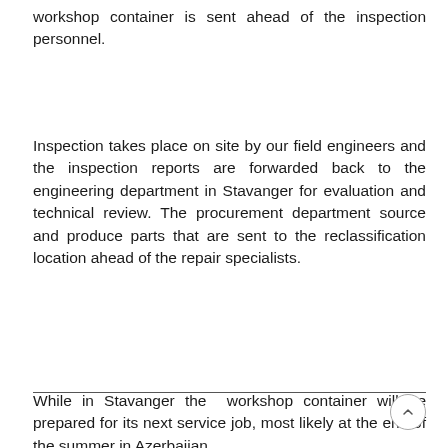workshop container is sent ahead of the inspection personnel.
Inspection takes place on site by our field engineers and the inspection reports are forwarded back to the engineering department in Stavanger for evaluation and technical review. The procurement department source and produce parts that are sent to the reclassification location ahead of the repair specialists.
While in Stavanger the  workshop container will be prepared for its next service job, most likely at the end of the summer in Azerbaijan.